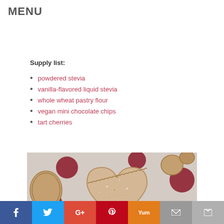MENU
Supply list:
powdered stevia
vanilla-flavored liquid stevia
whole wheat pastry flour
vegan mini chocolate chips
tart cherries
[Figure (photo): Heart-shaped and round pastry hand pies on a white background with red polka dots, pastries appear golden brown with crimped edges]
f  Twitter  G+  P  Yum  email  crown